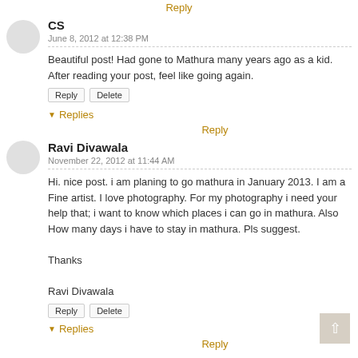Reply
CS
June 8, 2012 at 12:38 PM
Beautiful post! Had gone to Mathura many years ago as a kid. After reading your post, feel like going again.
Reply Delete
▼ Replies
Reply
Ravi Divawala
November 22, 2012 at 11:44 AM
Hi. nice post. i am planing to go mathura in January 2013. I am a Fine artist. I love photography. For my photography i need your help that; i want to know which places i can go in mathura. Also How many days i have to stay in mathura. Pls suggest.

Thanks

Ravi Divawala
Reply Delete
▼ Replies
Reply